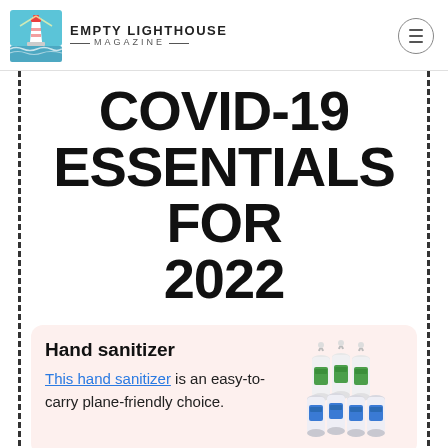EMPTY LIGHTHOUSE MAGAZINE
COVID-19 ESSENTIALS FOR 2022
Hand sanitizer This hand sanitizer is an easy-to-carry plane-friendly choice.
[Figure (photo): A pack of multiple small hand sanitizer bottles with blue and green labels and loop clips.]